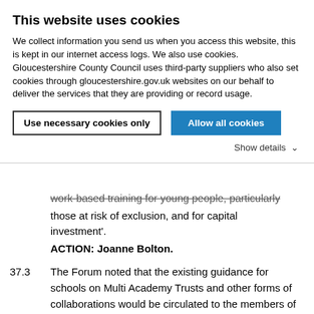This website uses cookies
We collect information you send us when you access this website, this is kept in our internet access logs. We also use cookies. Gloucestershire County Council uses third-party suppliers who also set cookies through gloucestershire.gov.uk websites on our behalf to deliver the services that they are providing or record usage.
Use necessary cookies only | Allow all cookies
Show details
work-based training for young people, particularly those at risk of exclusion, and for capital investment'.
ACTION: Joanne Bolton.
37.3  The Forum noted that the existing guidance for schools on Multi Academy Trusts and other forms of collaborations would be circulated to the members of the working group for initial comments. ACTION: Stewart King.
38.  School Funding 2018/19  PDF 275 KB